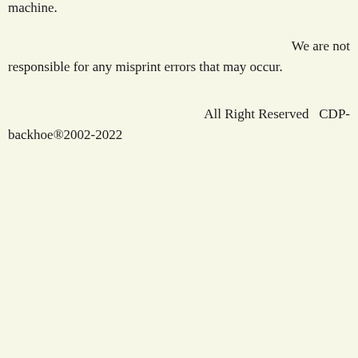machine.
We are not responsible for any misprint errors that may occur.
All Right Reserved   CDP-backhoe®2002-2022